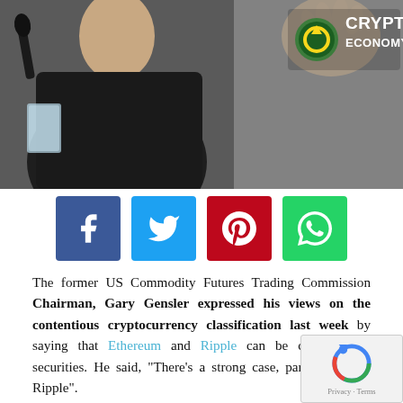[Figure (photo): Hero image of a man in a dark suit with tie at a hearing, with microphone visible, raising one hand. Crypto Economy logo in top right corner.]
[Figure (infographic): Social sharing buttons: Facebook (blue), Twitter (light blue), Pinterest (red), WhatsApp (green)]
The former US Commodity Futures Trading Commission Chairman, Gary Gensler expressed his views on the contentious cryptocurrency classification last week by saying that Ethereum and Ripple can be classified as securities. He said, “There’s a strong case, particularly for Ripple”.
The choice of two of the most valuable coins is ins... Ethereum and Ripple currencies, ether and XRP resp... are two of the most popular coins and having them classified